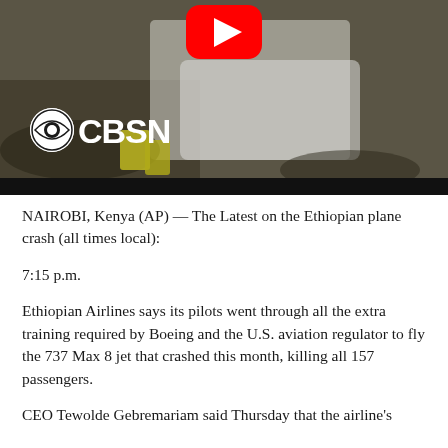[Figure (screenshot): Video thumbnail showing airplane crash debris with CBSN logo and YouTube play button overlay]
NAIROBI, Kenya (AP) — The Latest on the Ethiopian plane crash (all times local):
7:15 p.m.
Ethiopian Airlines says its pilots went through all the extra training required by Boeing and the U.S. aviation regulator to fly the 737 Max 8 jet that crashed this month, killing all 157 passengers.
CEO Tewolde Gebremariam said Thursday that the airline's